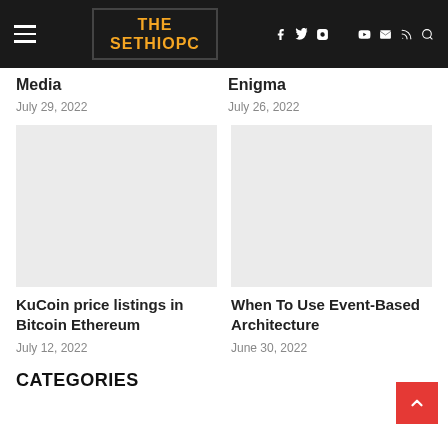THE SETHIOPC — navigation bar with hamburger menu and social icons
Media
July 29, 2022
Enigma
July 26, 2022
[Figure (photo): Blank/empty thumbnail image placeholder (light gray background), left column]
[Figure (photo): Blank/empty thumbnail image placeholder (light gray background), right column]
KuCoin price listings in Bitcoin Ethereum
July 12, 2022
When To Use Event-Based Architecture
June 30, 2022
CATEGORIES